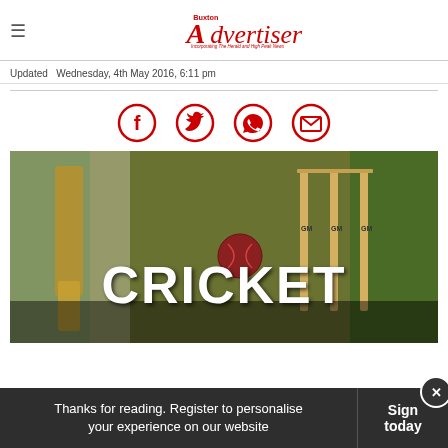Buxton Advertiser
Updated  Wednesday, 4th May 2016, 6:11 pm
[Figure (infographic): Social sharing icons: Facebook, Twitter, WhatsApp, Email — red circle outlines with icons inside]
[Figure (photo): Cricket photo showing batsman pads/bat near stumps with red ball, with large white text 'CRICKET' overlaid at bottom]
Thanks for reading. Register to personalise your experience on our website
Sign today